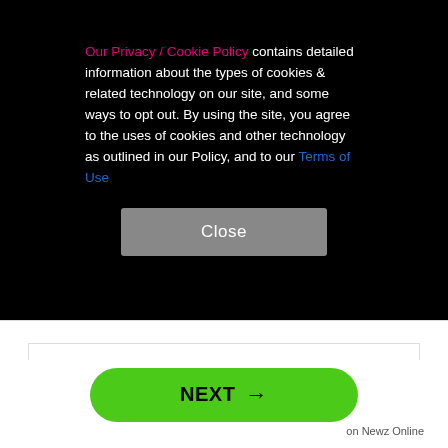Our Privacy / Cookie Policy contains detailed information about the types of cookies & related technology on our site, and some ways to opt out. By using the site, you agree to the uses of cookies and other technology as outlined in our Policy, and to our Terms of Use
Close
removed.
Visit Instagram
X
NEXT →
on Newz Online